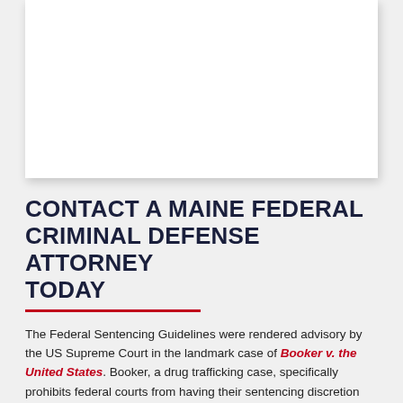[Figure (other): White box / image placeholder area at the top of the page]
CONTACT A MAINE FEDERAL CRIMINAL DEFENSE ATTORNEY TODAY
The Federal Sentencing Guidelines were rendered advisory by the US Supreme Court in the landmark case of Booker v. the United States. Booker, a drug trafficking case, specifically prohibits federal courts from having their sentencing discretion bound by the Commission's “recommendations”. While the Guidelines are now considered advisory and courts are free to deviate up or down from their recommendations, the Court still must put on the record its